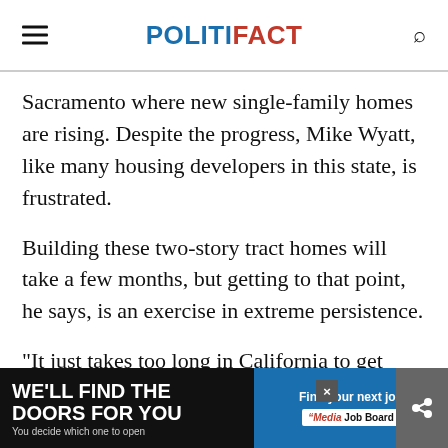POLITIFACT
Sacramento where new single-family homes are rising. Despite the progress, Mike Wyatt, like many housing developers in this state, is frustrated.
Building these two-story tract homes will take a few months, but getting to that point, he says, is an exercise in extreme persistence.
"It just takes too long in California to get projects approved," Wyatt, regional presi... for K...
[Figure (screenshot): Advertisement banner at bottom: left side dark background with text 'WE'LL FIND THE DOORS FOR YOU / You decide which one to open', right side blue background with 'Find your next job / Media Job Board']